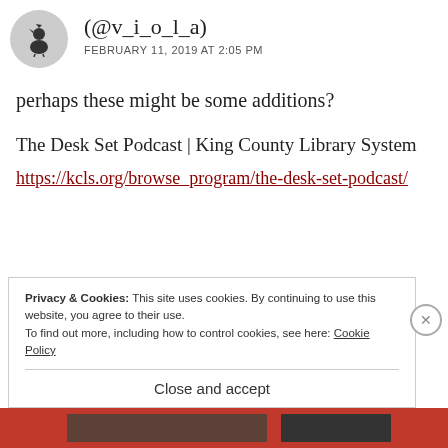[Figure (illustration): Circular avatar with a rooster/bird silhouette on gray background]
(@v_i_o_l_a)
FEBRUARY 11, 2019 AT 2:05 PM
perhaps these might be some additions?
The Desk Set Podcast | King County Library System
https://kcls.org/browse_program/the-desk-set-podcast/
Privacy & Cookies: This site uses cookies. By continuing to use this website, you agree to their use.
To find out more, including how to control cookies, see here: Cookie Policy
Close and accept